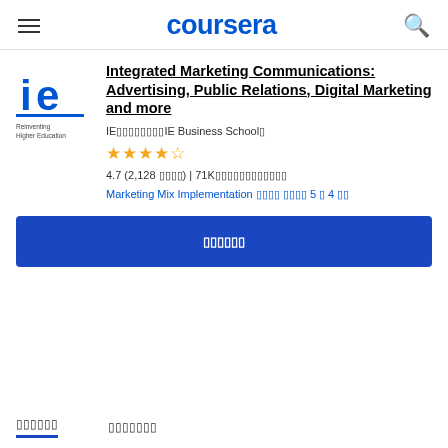coursera
[Figure (logo): IE Business School logo - blue 'ie' letters with text 'Reinventing Higher Education']
Integrated Marketing Communications: Advertising, Public Relations, Digital Marketing and more
IE□□□□□□□□□IE Business School□
[Figure (other): 4.5 star rating displayed as 5 gold stars]
4.7 (2,128 □□□□) | 71K□□□□□□□□□□□□
Marketing Mix Implementation □□□□ □□□□ 5 □ 4 □□□
□□□□□□
□□□□□□  □□□□□□□